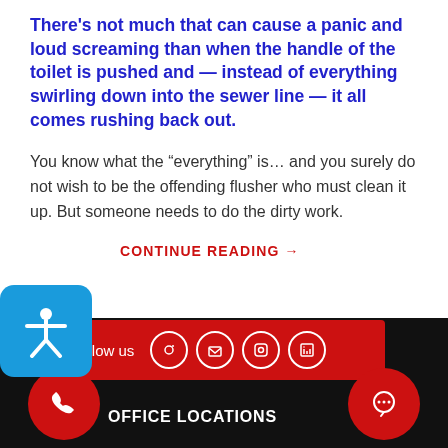There's not much that can cause a panic and loud screaming than when the handle of the toilet is pushed and — instead of everything swirling down into the sewer line — it all comes rushing back out.
You know what the “everything” is… and you surely do not wish to be the offending flusher who must clean it up. But someone needs to do the dirty work.
CONTINUE READING →
[Figure (illustration): Accessibility icon: blue rounded square with white stick figure person with arms outstretched]
Follow us | OFFICE LOCATIONS